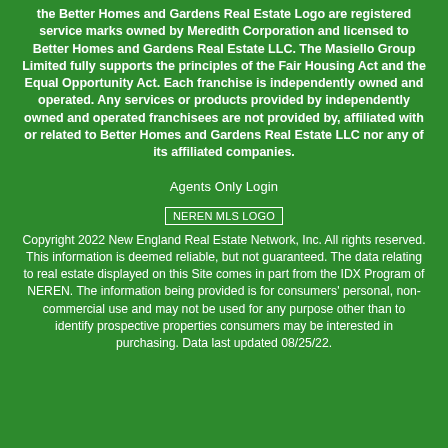the Better Homes and Gardens Real Estate Logo are registered service marks owned by Meredith Corporation and licensed to Better Homes and Gardens Real Estate LLC. The Masiello Group Limited fully supports the principles of the Fair Housing Act and the Equal Opportunity Act. Each franchise is independently owned and operated. Any services or products provided by independently owned and operated franchisees are not provided by, affiliated with or related to Better Homes and Gardens Real Estate LLC nor any of its affiliated companies.
Agents Only Login
[Figure (logo): NEREN MLS Logo placeholder image with alt text]
Copyright 2022 New England Real Estate Network, Inc. All rights reserved. This information is deemed reliable, but not guaranteed. The data relating to real estate displayed on this Site comes in part from the IDX Program of NEREN. The information being provided is for consumers' personal, non-commercial use and may not be used for any purpose other than to identify prospective properties consumers may be interested in purchasing. Data last updated 08/25/22.